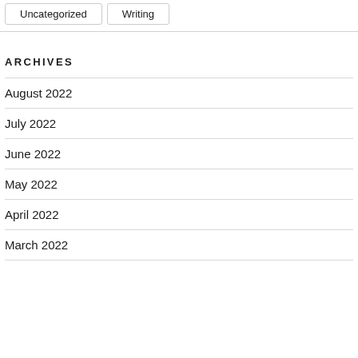Uncategorized
Writing
ARCHIVES
August 2022
July 2022
June 2022
May 2022
April 2022
March 2022